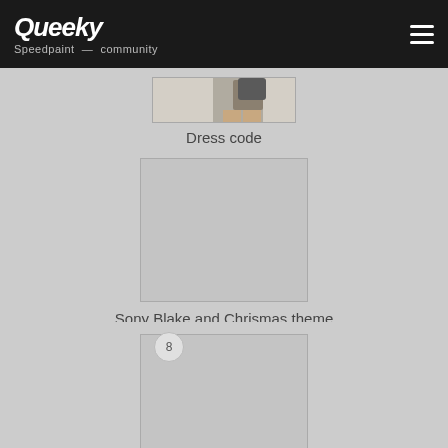Queeky Speedpaint community
[Figure (illustration): Partial thumbnail of 'Dress code' artwork showing a stylized character]
Dress code
[Figure (illustration): Placeholder thumbnail for 'Sony Blake and Chrismas theme' artwork]
Sony Blake and Chrismas theme
[Figure (illustration): Placeholder thumbnail for 'Special-Hornet' artwork with badge showing 8]
Special-Hornet
[Figure (illustration): Partially visible thumbnail at bottom with badge showing 12]